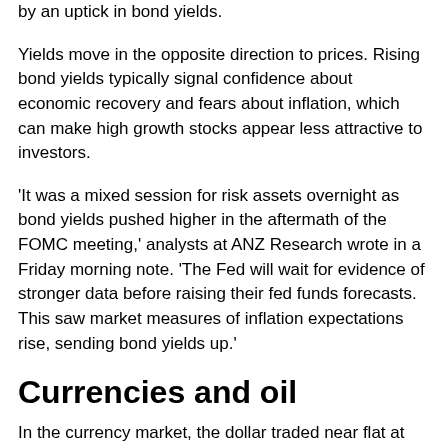got also occurred. That weakness in shares was mirrored by an uptick in bond yields.
Yields move in the opposite direction to prices. Rising bond yields typically signal confidence about economic recovery and fears about inflation, which can make high growth stocks appear less attractive to investors.
'It was a mixed session for risk assets overnight as bond yields pushed higher in the aftermath of the FOMC meeting,' analysts at ANZ Research wrote in a Friday morning note. 'The Fed will wait for evidence of stronger data before raising their fed funds forecasts. This saw market measures of inflation expectations rise, sending bond yields up.'
Currencies and oil
In the currency market, the dollar traded near flat at 91.884 against a basket of its peers. Overnight, the